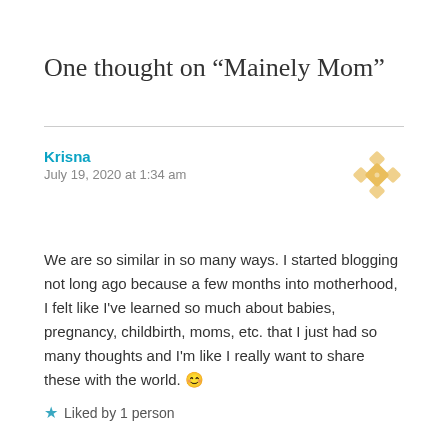One thought on “Mainely Mom”
Krisna
July 19, 2020 at 1:34 am
We are so similar in so many ways. I started blogging not long ago because a few months into motherhood, I felt like I've learned so much about babies, pregnancy, childbirth, moms, etc. that I just had so many thoughts and I'm like I really want to share these with the world. 😊
Liked by 1 person